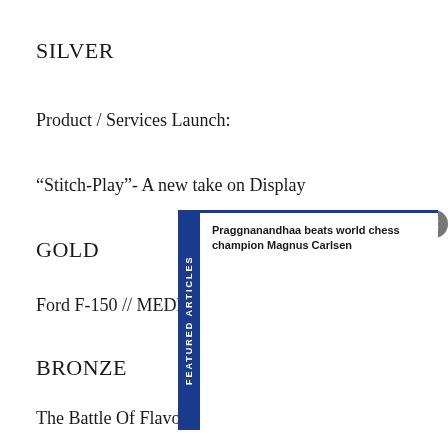SILVER
Product / Services Launch:
“Stitch-Play”- A new take on Display
GOLD
Ford F-150 // MEDIA // AdColony
BRONZE
The Battle Of Flavors
[Figure (screenshot): Featured Articles sidebar overlay with blue tab labeled FEATURED ARTICLES and article headline: Praggnanandhaa beats world chess champion Magnus Carlsen, with a grey close button]